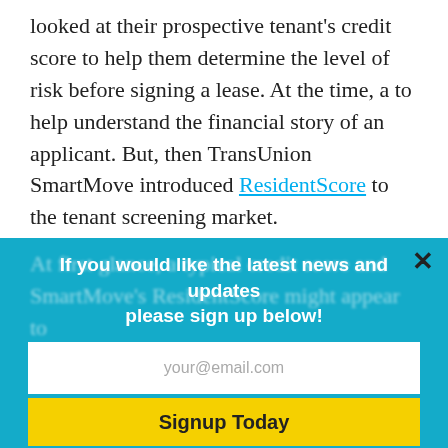looked at their prospective tenant's credit score to help them determine the level of risk before signing a lease. At the time, a to help understand the financial story of an applicant. But, then TransUnion SmartMove introduced ResidentScore to the tenant screening market.
If you would like the latest news and updates please sign up below!
your@email.com
Signup Today
At first glance, a typical credit score and SmartMove's ResidentScore might appear to [blurred] tenant. Below you will discover...